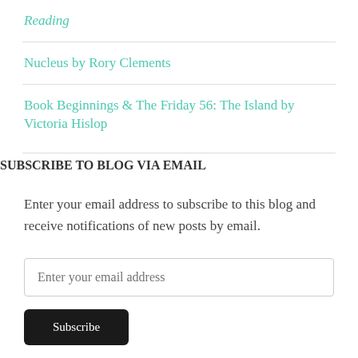Reading
Nucleus by Rory Clements
Book Beginnings & The Friday 56: The Island by Victoria Hislop
SUBSCRIBE TO BLOG VIA EMAIL
Enter your email address to subscribe to this blog and receive notifications of new posts by email.
Enter your email address
Subscribe